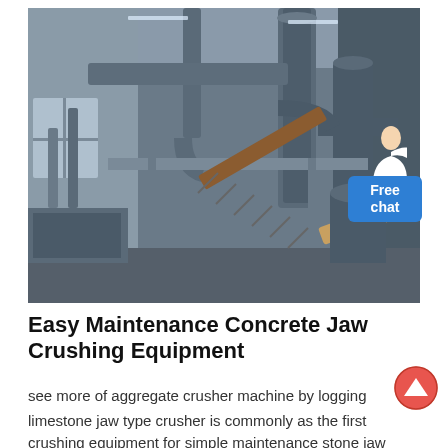[Figure (photo): Industrial crushing/milling facility interior showing heavy machinery, large pipes, dust collection systems, conveyor stairs, and industrial equipment in a warehouse-like structure with corrugated metal walls and ceiling.]
Easy Maintenance Concrete Jaw Crushing Equipment
see more of aggregate crusher machine by logging
limestone jaw type crusher is commonly as the first
crushing equipment for simple maintenance stone jaw